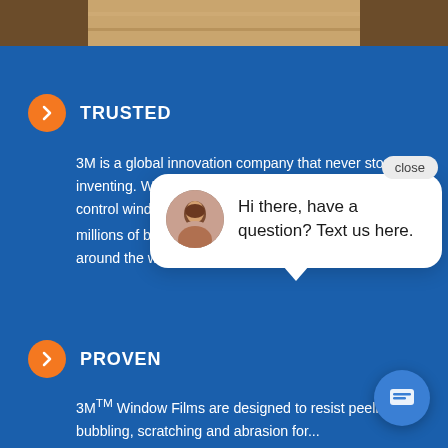[Figure (photo): Top portion of a wooden table or surface, partially visible at the top of the page]
TRUSTED
3M is a global innovation company that never stops inventing. We earned the world's first patent for sun control window film in 1966. And today, there are millions of buildings with 3MTM Window Film installed around the w... By sha... and co... continu... products...
PROVEN
3MTM Window Films are designed to resist peeling, bubbling, scratching and abrasion for...
[Figure (screenshot): Chat popup overlay with avatar of a woman and message: Hi there, have a question? Text us here. With a close button and chat trigger button.]